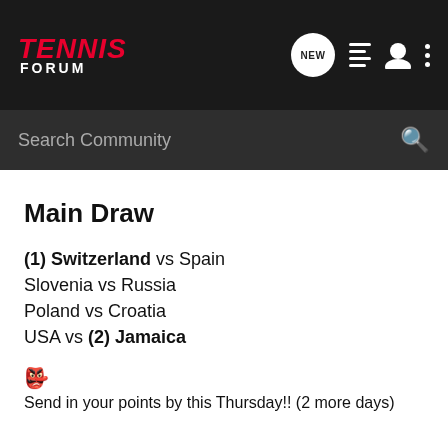TENNIS FORUM
Main Draw
(1) Switzerland vs Spain
Slovenia vs Russia
Poland vs Croatia
USA vs (2) Jamaica
Send in your points by this Thursday!! (2 more days)
Line up as usual please...